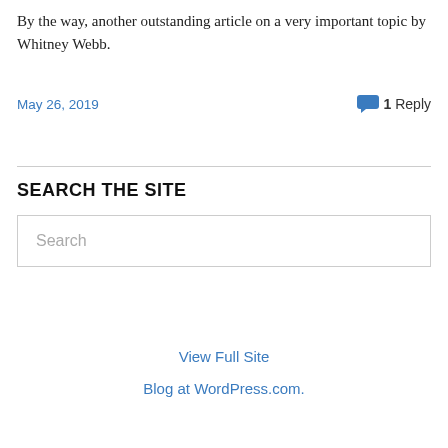By the way, another outstanding article on a very important topic by Whitney Webb.
May 26, 2019
💬 1 Reply
SEARCH THE SITE
Search
View Full Site
Blog at WordPress.com.